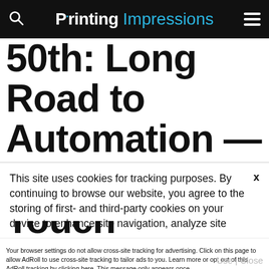Printing Impressions
50th: Long Road to Automation – From High Touch to Hi Tech
This site uses cookies for tracking purposes. By continuing to browse our website, you agree to the storing of first- and third-party cookies on your device to enhance site navigation, analyze site usage, and assist in our marketing and
Accept and Close ✕
Your browser settings do not allow cross-site tracking for advertising. Click on this page to allow AdRoll to use cross-site tracking to tailor ads to you. Learn more or opt out of this AdRoll tracking by clicking here. This message only appears once.